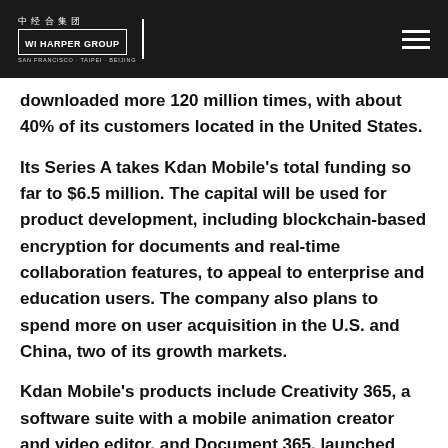WI Harper Group — San Francisco · Taipei · Beijing
downloaded more 120 million times, with about 40% of its customers located in the United States.
Its Series A takes Kdan Mobile's total funding so far to $6.5 million. The capital will be used for product development, including blockchain-based encryption for documents and real-time collaboration features, to appeal to enterprise and education users. The company also plans to spend more on user acquisition in the U.S. and China, two of its growth markets.
Kdan Mobile's products include Creativity 365, a software suite with a mobile animation creator and video editor, and Document 365, launched last year to attract enterprise users. The company also recently began offering new subscription plans for businesses and educational